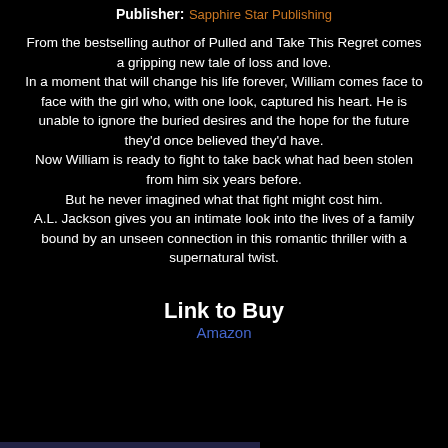Publisher: Sapphire Star Publishing
From the bestselling author of Pulled and Take This Regret comes a gripping new tale of loss and love. In a moment that will change his life forever, William comes face to face with the girl who, with one look, captured his heart. He is unable to ignore the buried desires and the hope for the future they'd once believed they'd have. Now William is ready to fight to take back what had been stolen from him six years before. But he never imagined what that fight might cost him. A.L. Jackson gives you an intimate look into the lives of a family bound by an unseen connection in this romantic thriller with a supernatural twist.
Link to Buy
Amazon